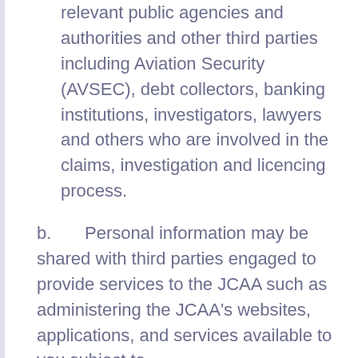relevant public agencies and authorities and other third parties including Aviation Security (AVSEC), debt collectors, banking institutions, investigators, lawyers and others who are involved in the claims, investigation and licencing process.
b. Personal information may be shared with third parties engaged to provide services to the JCAA such as administering the JCAA's websites, applications, and services available to you subject to